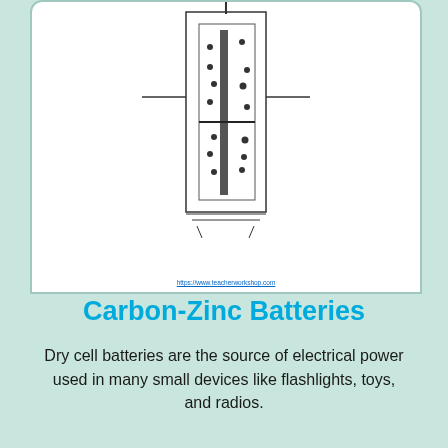[Figure (schematic): Battery/dry cell cross-section schematic diagram showing internal components with dots representing chemical components and a horizontal bar, on white background]
https://www.teacherworkshop.com
Carbon-Zinc Batteries
Dry cell batteries are the source of electrical power used in many small devices like flashlights, toys, and radios.
[Figure (screenshot): Red rounded button with printer icon and text 'Get Worksheet']
[Figure (screenshot): Green rounded button partially visible, and overlapping dark advertisement video overlay showing cartoon monster character with @AdMetricsPro watermark and play button/mute icon]